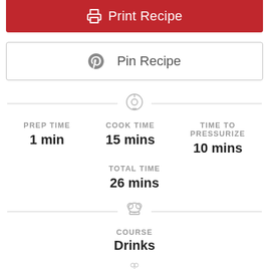[Figure (screenshot): Print Recipe button - red background with printer icon and white text]
[Figure (screenshot): Pin Recipe button - white background with Pinterest icon and gray text]
PREP TIME 1 min
COOK TIME 15 mins
TIME TO PRESSURIZE 10 mins
TOTAL TIME 26 mins
COURSE Drinks